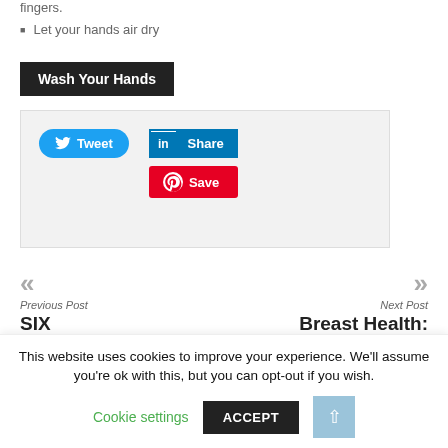fingers.
Let your hands air dry
Wash Your Hands
[Figure (screenshot): Social sharing buttons: Tweet (Twitter/blue), Share (LinkedIn/blue), Save (Pinterest/red)]
« Previous Post SIX PREGNANCY...
» Next Post Breast Health: Review R...
This website uses cookies to improve your experience. We'll assume you're ok with this, but you can opt-out if you wish.
Cookie settings
ACCEPT